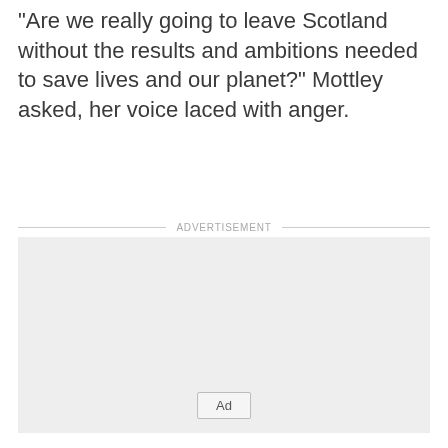“Are we really going to leave Scotland without the results and ambitions needed to save lives and our planet?” Mottley asked, her voice laced with anger.
[Figure (other): Advertisement placeholder box with light gray background and an 'Ad' button at the bottom center.]